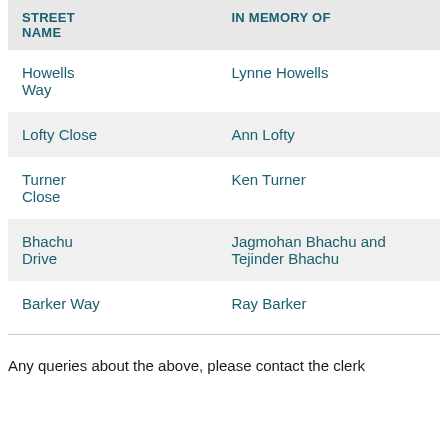| STREET NAME | IN MEMORY OF |
| --- | --- |
| Howells Way | Lynne Howells |
| Lofty Close | Ann Lofty |
| Turner Close | Ken Turner |
| Bhachu Drive | Jagmohan Bhachu and Tejinder Bhachu |
| Barker Way | Ray Barker |
Any queries about the above, please contact the clerk